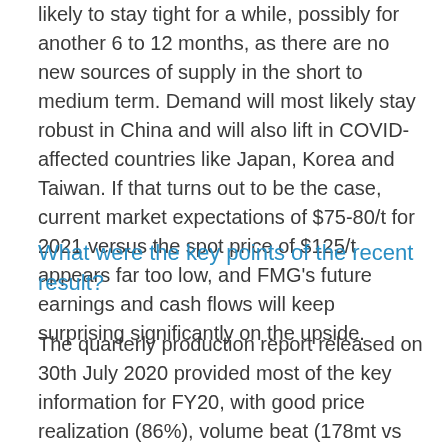likely to stay tight for a while, possibly for another 6 to 12 months, as there are no new sources of supply in the short to medium term. Demand will most likely stay robust in China and will also lift in COVID-affected countries like Japan, Korea and Taiwan. If that turns out to be the case, current market expectations of $75-80/t for 2021 versus the spot price of $125/t appears far too low, and FMG's future earnings and cash flows will keep surprising significantly on the upside.
What were the key points of the recent result?
The quarterly production report released on 30th July 2020 provided most of the key information for FY20, with good price realization (86%), volume beat (178mt vs 175mt), cost control, and net debt reduction to $300m. Guidance for FY21 of 175mt-